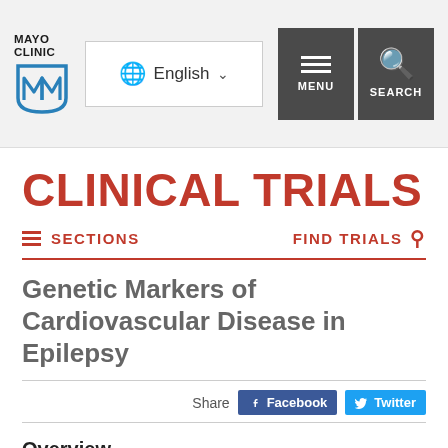Mayo Clinic — Navigation header with logo, English language selector, Menu and Search buttons
CLINICAL TRIALS
SECTIONS | FIND TRIALS
Genetic Markers of Cardiovascular Disease in Epilepsy
Share Facebook Twitter
Overview